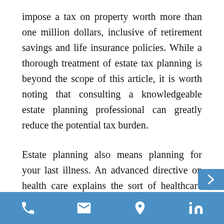impose a tax on property worth more than one million dollars, inclusive of retirement savings and life insurance policies. While a thorough treatment of estate tax planning is beyond the scope of this article, it is worth noting that consulting a knowledgeable estate planning professional can greatly reduce the potential tax burden.
Estate planning also means planning for your last illness. An advanced directive on health care explains the sort of healthcare treatment that you would like to receive before your death. There is a great deal of variation in how we choose to make decisions at the end of our lives, and an advance directive on healthcare can give voice to our own preferences.
Phone | Email | Location | LinkedIn